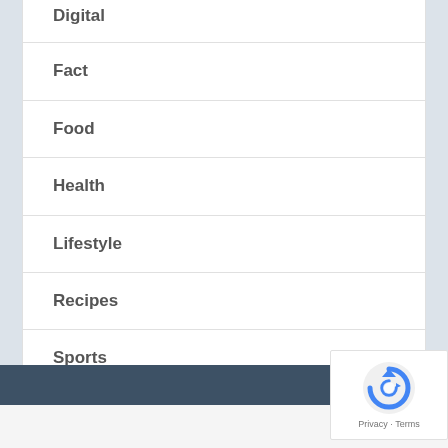Digital
Fact
Food
Health
Lifestyle
Recipes
Sports
Top 10
[Figure (logo): reCAPTCHA logo with Privacy and Terms text]